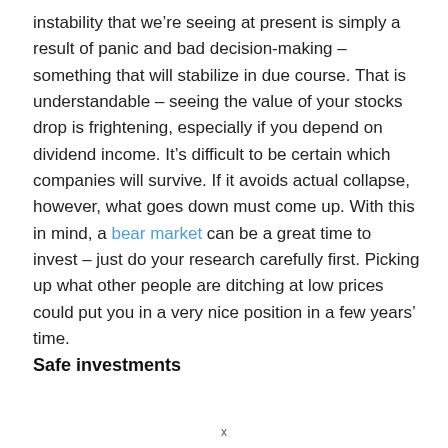instability that we're seeing at present is simply a result of panic and bad decision-making – something that will stabilize in due course. That is understandable – seeing the value of your stocks drop is frightening, especially if you depend on dividend income. It's difficult to be certain which companies will survive. If it avoids actual collapse, however, what goes down must come up. With this in mind, a bear market can be a great time to invest – just do your research carefully first. Picking up what other people are ditching at low prices could put you in a very nice position in a few years' time.
Safe investments
x